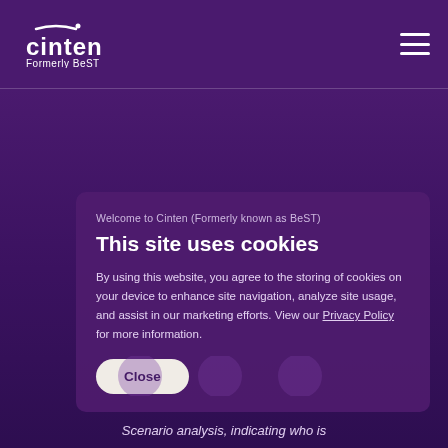cinten — Formerly BeST
This site uses cookies
Welcome to Cinten (Formerly known as BeST)
By using this website, you agree to the storing of cookies on your device to enhance site navigation, analyze site usage, and assist in our marketing efforts. View our Privacy Policy for more information.
Close
Scenario analysis, indicating who is